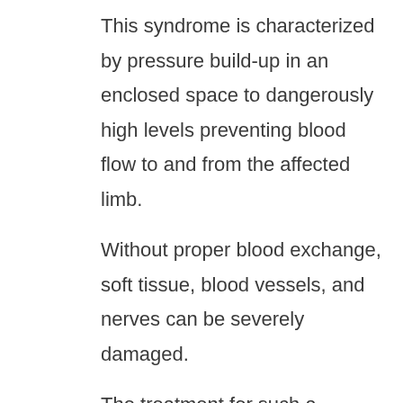This syndrome is characterized by pressure build-up in an enclosed space to dangerously high levels preventing blood flow to and from the affected limb.
Without proper blood exchange, soft tissue, blood vessels, and nerves can be severely damaged.
The treatment for such a condition is immediate fasciotomy, a surgical procedure where an incision is made above the area to alleviate the pressure that is preventing proper circulation to the surrounding tissue.